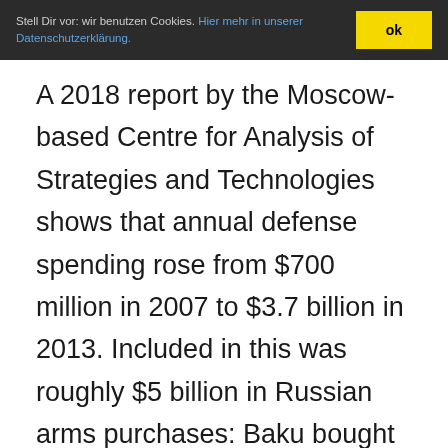Stell Dir vor: wir benutzen Cookies. Hier mehr in unserer Datenschutzerklärung. ok
A 2018 report by the Moscow-based Centre for Analysis of Strategies and Technologies shows that annual defense spending rose from $700 million in 2007 to $3.7 billion in 2013. Included in this was roughly $5 billion in Russian arms purchases: Baku bought T-90C battle tanks, BTR-82A armored personnel carriers, Mi-35M...